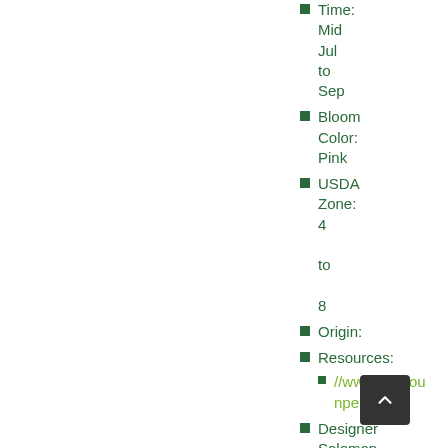Time: Mid Jul to Sep
Bloom Color: Pink
USDA Zone: 4 to 8
Origin:
Resources:
//www.missou...npercode=
Designer Solomon